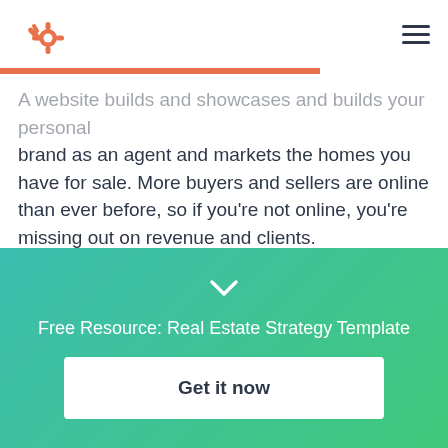HubSpot logo and navigation menu
A website builds and showcases and builds your personal brand as an agent and markets the homes you have for sale. More buyers and sellers are online than ever before, so if you're not online, you're missing out on revenue and clients.
Having an online presence as a real estate agent also speaks volumes about your legitimacy and how seriously you take your job. At the minimum, it should
Free Resource: Real Estate Strategy Template
Get it now